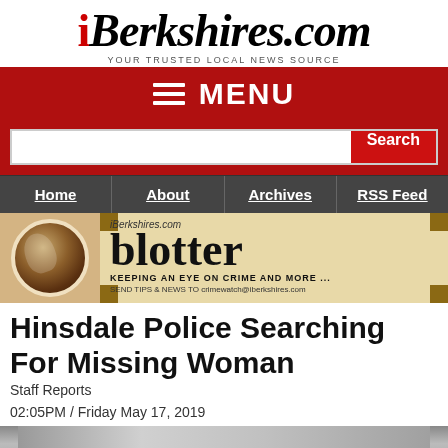iBerkshires.com — YOUR TRUSTED LOCAL NEWS SOURCE
[Figure (screenshot): Red menu bar with hamburger icon and MENU text]
[Figure (screenshot): Search input box with Search button]
[Figure (screenshot): Navigation bar with links: Home, About, Archives, RSS Feed]
[Figure (illustration): iBerkshires.com blotter banner — coffee cup on left, blotter title on right with text KEEPING AN EYE ON CRIME AND MORE... and SEND TIPS & NEWS TO crimewatch@iberkshires.com]
Hinsdale Police Searching For Missing Woman
Staff Reports
02:05PM / Friday May 17, 2019
[Figure (photo): Partial photo at bottom, appears to show a person, cut off]